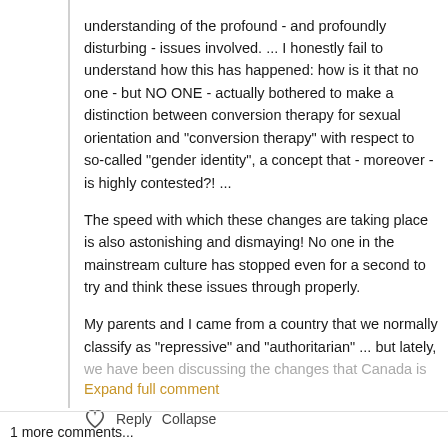understanding of the profound - and profoundly disturbing - issues involved. ... I honestly fail to understand how this has happened: how is it that no one - but NO ONE - actually bothered to make a distinction between conversion therapy for sexual orientation and "conversion therapy" with respect to so-called "gender identity", a concept that - moreover - is highly contested?! ...
The speed with which these changes are taking place is also astonishing and dismaying! No one in the mainstream culture has stopped even for a second to try and think these issues through properly.
My parents and I came from a country that we normally classify as "repressive" and "authoritarian" ... but lately, we have been discussing the changes that Canada is
Expand full comment
Reply    Collapse
1 more comments...